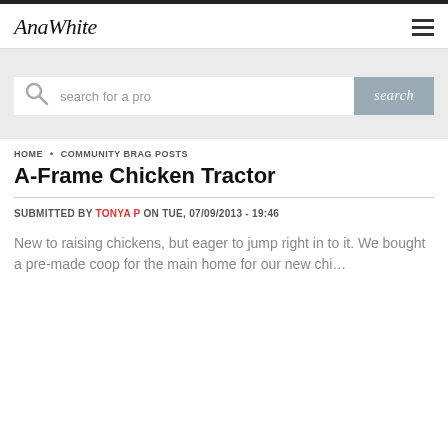AnaWhite
[Figure (screenshot): Search bar with magnifying glass icon, placeholder text 'search for a pro', and a grey Search button]
HOME • COMMUNITY BRAG POSTS
A-Frame Chicken Tractor
SUBMITTED BY TONYA P ON TUE, 07/09/2013 - 19:46
New to raising chickens, but eager to jump right in to it. We bought a pre-made coop for the main home for our new chickens, but we want to put them